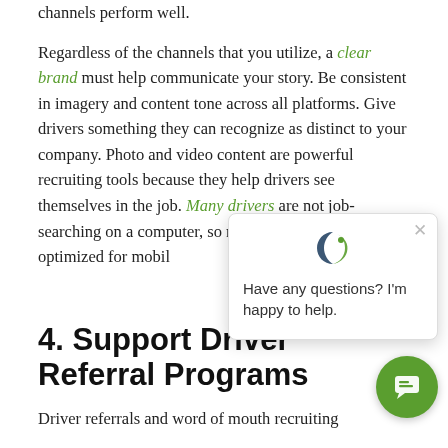channels perform well.

Regardless of the channels that you utilize, a clear brand must help communicate your story. Be consistent in imagery and content tone across all platforms. Give drivers something they can recognize as distinct to your company. Photo and video content are powerful recruiting tools because they help drivers see themselves in the job. Many drivers are not job-searching on a computer, so m... optimized for mobil...
[Figure (screenshot): Chat popup overlay with logo icon, close button (×), and text 'Have any questions? I'm happy to help.' with a green circular chat button in the bottom right corner.]
4. Support Driver Referral Programs
Driver referrals and word of mouth recruiting